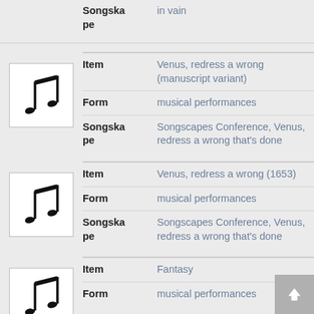|  | Field | Value |
| --- | --- | --- |
|  | Songsca pe | in vain |
| Icon | Field | Value |
| --- | --- | --- |
| [music note] | Item | Venus, redress a wrong (manuscript variant) |
|  | Form | musical performances |
|  | Songsca pe | Songscapes Conference, Venus, redress a wrong that's done |
| Icon | Field | Value |
| --- | --- | --- |
| [music note] | Item | Venus, redress a wrong (1653) |
|  | Form | musical performances |
|  | Songsca pe | Songscapes Conference, Venus, redress a wrong that's done |
| Icon | Field | Value |
| --- | --- | --- |
| [music note] | Item | Fantasy |
|  | Form | musical performances |